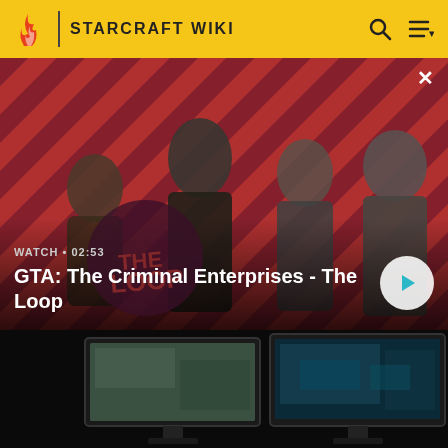STARCRAFT WIKI
[Figure (screenshot): GTA: The Criminal Enterprises promotional banner with four characters on a diagonal red and dark stripe background. Shows 'WATCH • 02:53' label and 'GTA: The Criminal Enterprises - The Loop' title with a play button.]
[Figure (screenshot): Dark background section showing two gaming monitors displaying game screenshots side by side.]